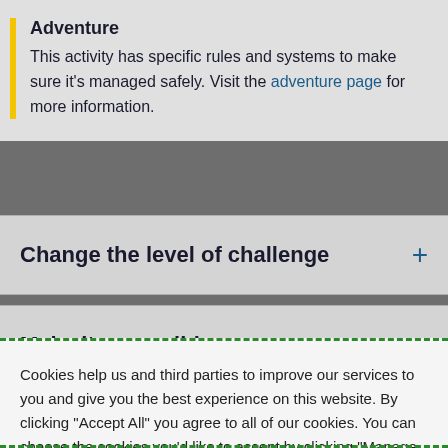Adventure
This activity has specific rules and systems to make sure it's managed safely. Visit the adventure page for more information.
Change the level of challenge
Make it accessible
Cookies help us and third parties to improve our services to you and give you the best experience on this website. By clicking "Accept All" you agree to all of our cookies. You can choose the cookies you'd like to accept by clicking "Manage Settings". See our cookie policy for full details.
Manage Settings
Accept All